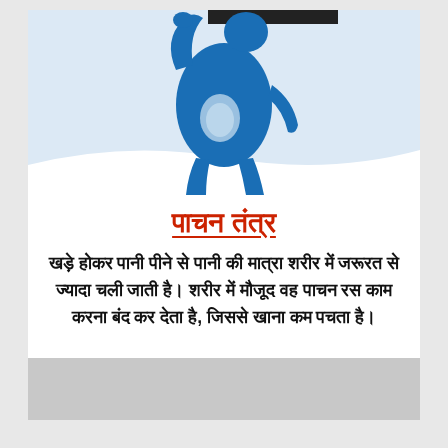[Figure (illustration): Blue human figure silhouette showing digestive system with stomach highlighted, on a light blue background]
पाचन तंत्र
खड़े होकर पानी पीने से पानी की मात्रा शरीर में जरूरत से ज्यादा चली जाती है। शरीर में मौजूद वह पाचन रस काम करना बंद कर देता है, जिससे खाना कम पचता है।